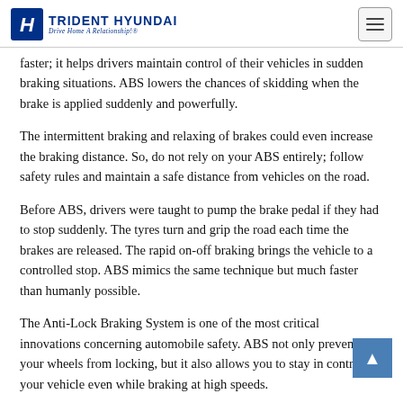TRIDENT HYUNDAI — Drive Home A Relationship!
faster; it helps drivers maintain control of their vehicles in sudden braking situations. ABS lowers the chances of skidding when the brake is applied suddenly and powerfully.
The intermittent braking and relaxing of brakes could even increase the braking distance. So, do not rely on your ABS entirely; follow safety rules and maintain a safe distance from vehicles on the road.
Before ABS, drivers were taught to pump the brake pedal if they had to stop suddenly. The tyres turn and grip the road each time the brakes are released. The rapid on-off braking brings the vehicle to a controlled stop. ABS mimics the same technique but much faster than humanly possible.
The Anti-Lock Braking System is one of the most critical innovations concerning automobile safety. ABS not only prevents your wheels from locking, but it also allows you to stay in control of your vehicle even while braking at high speeds.